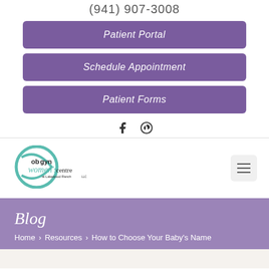(941) 907-3008
Patient Portal
Schedule Appointment
Patient Forms
[Figure (logo): OB-GYN Women's Centre of Lakewood Ranch LLC logo with teal circular swirl design]
Blog
Home > Resources > How to Choose Your Baby's Name